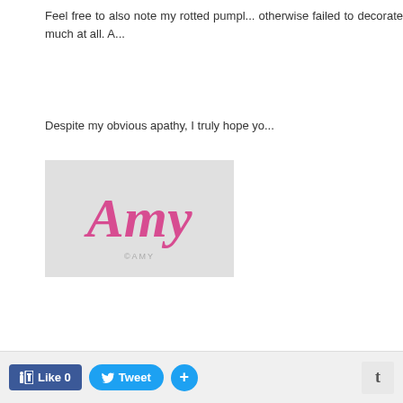Feel free to also note my rotted pumpl... otherwise failed to decorate much at all. A...
Despite my obvious apathy, I truly hope yo...
[Figure (illustration): Cursive signature reading 'Amy' in pink/rose script on a light gray background]
AT 5:05 PM [email icon] [M] [B] [t] [f] [P]
LABELS: CHILDREN., HALLOWEEN.
Newer Posts
Subscribe to: Posts (Atom)
Like 0  Tweet  +  t